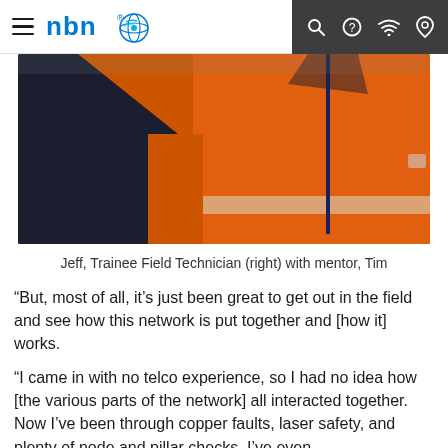nbn — navigation bar with menu, search, help, wifi, and location icons
[Figure (photo): Two people wearing orange high-visibility workwear; one on the left in dark navy and orange, one on the right in orange with a lanyard and NBN badge]
Jeff, Trainee Field Technician (right) with mentor, Tim
“But, most of all, it’s just been great to get out in the field and see how this network is put together and [how it] works.
“I came in with no telco experience, so I had no idea how [the various parts of the network] all interacted together. Now I’ve been through copper faults, laser safety, and plenty of node and pillar checks. I’ve even